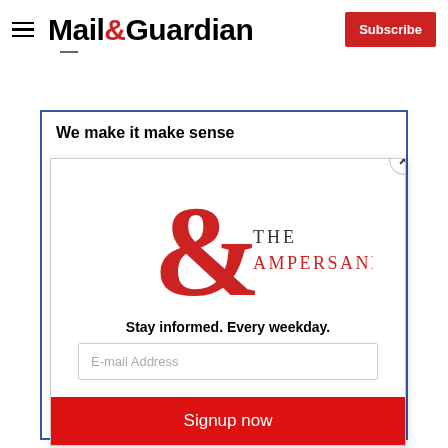Mail&Guardian — Subscribe
We make it make sense
[Figure (logo): The Ampersand newsletter logo — large red ampersand symbol with 'THE AMPERSAND' text in dark/red serif letters]
Stay informed. Every weekday.
E-mail Address
Signup now